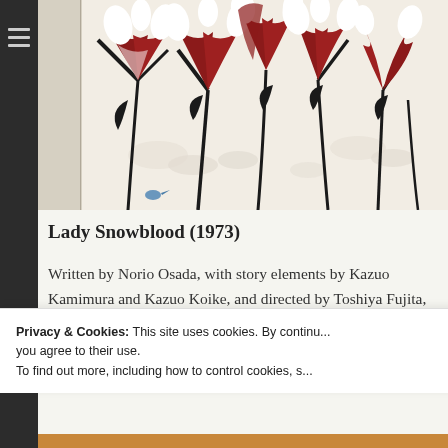[Figure (illustration): Book cover art for Lady Snowblood (1973) Criterion Collection edition. Japanese woodblock-style illustration with red and white iris flowers, dark leaves, and small white cloud-like shapes on a white/cream background. Left side shows the cream book spine with vertical text 'THE CRITERION COLLECTION'.]
Lady Snowblood (1973)
Written by Norio Osada, with story elements by Kazuo Kamimura and Kazuo Koike, and directed by Toshiya Fujita, “Lady Snowblood” is not only a
Privacy & Cookies: This site uses cookies. By continu... you agree to their use.
To find out more, including how to control cookies, s...
Close and accept